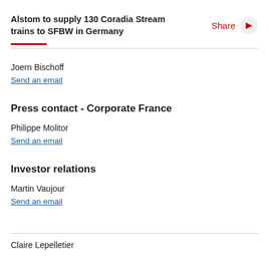Alstom to supply 130 Coradia Stream trains to SFBW in Germany
Joern Bischoff
Send an email
Press contact - Corporate France
Philippe Molitor
Send an email
Investor relations
Martin Vaujour
Send an email
Claire Lepelletier